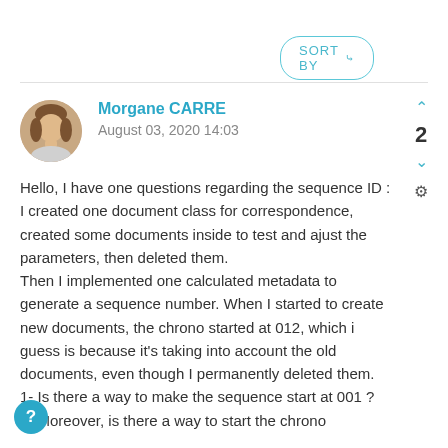SORT BY ∨
Morgane CARRE
August 03, 2020 14:03
Hello, I have one questions regarding the sequence ID :
I created one document class for correspondence, created some documents inside to test and ajust the parameters, then deleted them.
Then I implemented one calculated metadata to generate a sequence number. When I started to create new documents, the chrono started at 012, which i guess is because it's taking into account the old documents, even though I permanently deleted them.
1- Is there a way to make the sequence start at 001 ?
2- Moreover, is there a way to start the chrono at...